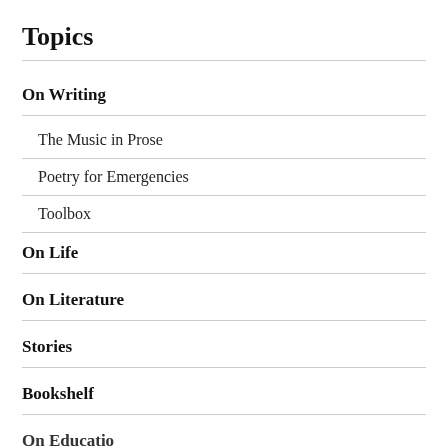Topics
On Writing
The Music in Prose
Poetry for Emergencies
Toolbox
On Life
On Literature
Stories
Bookshelf
On Education